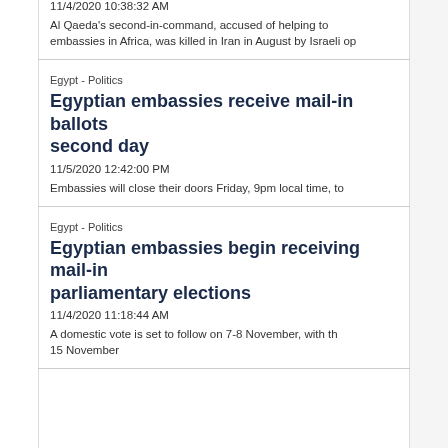11/4/2020 10:38:32 AM
Al Qaeda's second-in-command, accused of helping to plan the bombing of US embassies in Africa, was killed in Iran in August by Israeli op
Egypt - Politics
Egyptian embassies receive mail-in ballots second day
11/5/2020 12:42:00 PM
Embassies will close their doors Friday, 9pm local time, to
Egypt - Politics
Egyptian embassies begin receiving mail-in parliamentary elections
11/4/2020 11:18:44 AM
A domestic vote is set to follow on 7-8 November, with th 15 November